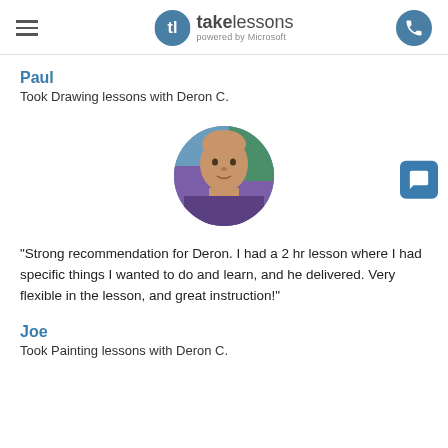takelessons powered by Microsoft
Paul
Took Drawing lessons with Deron C.
[Figure (photo): Circular profile photo of a middle-aged man with a shaved head, looking at the camera, colorful background.]
"Strong recommendation for Deron. I had a 2 hr lesson where I had specific things I wanted to do and learn, and he delivered. Very flexible in the lesson, and great instruction!"
Joe
Took Painting lessons with Deron C.